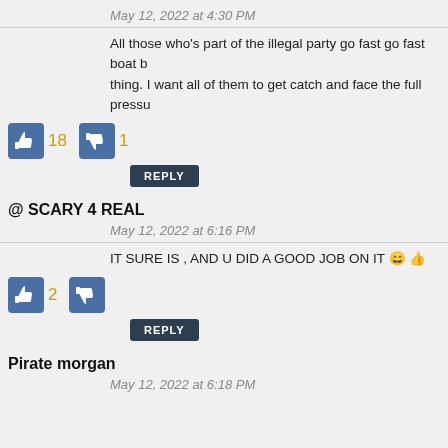May 12, 2022 at 4:30 PM
All those who's part of the illegal party go fast go fast boat b... thing. I want all of them to get catch and face the full pressu...
18  1
REPLY
@ SCARY 4 REAL
May 12, 2022 at 6:16 PM
IT SURE IS , AND U DID A GOOD JOB ON IT 😄 👍
2
REPLY
Pirate morgan
May 12, 2022 at 6:18 PM